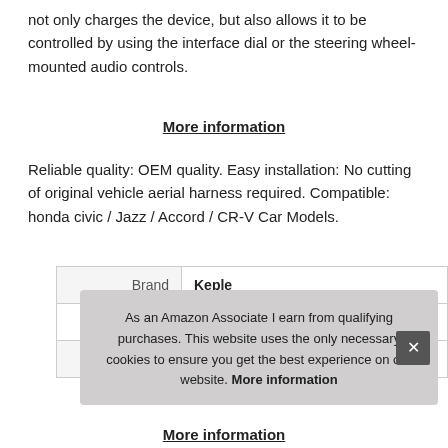not only charges the device, but also allows it to be controlled by using the interface dial or the steering wheel-mounted audio controls.
More information
Reliable quality: OEM quality. Easy installation: No cutting of original vehicle aerial harness required. Compatible: honda civic / Jazz / Accord / CR-V Car Models.
|  |  |
| --- | --- |
| Brand | Keple |
| Manufacturer | Keple |
| P |  |
As an Amazon Associate I earn from qualifying purchases. This website uses the only necessary cookies to ensure you get the best experience on our website. More information
More information